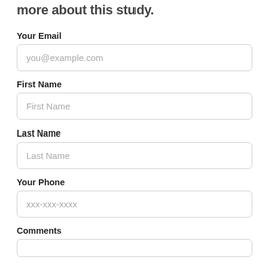more about this study.
Your Email
you@example.com
First Name
First Name
Last Name
Last Name
Your Phone
xxx-xxx-xxxx
Comments